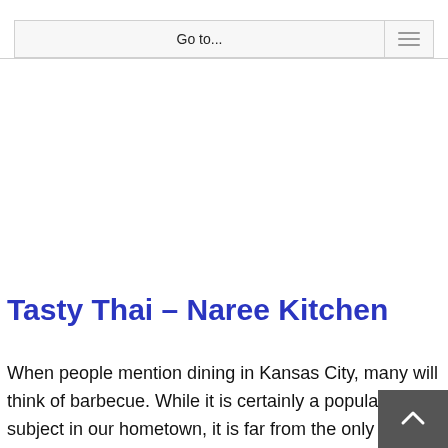Go to...
Tasty Thai – Naree Kitchen
When people mention dining in Kansas City, many will think of barbecue. While it is certainly a popular subject in our hometown, it is far from the only cuisine to be found here. In fact, there are tons of…